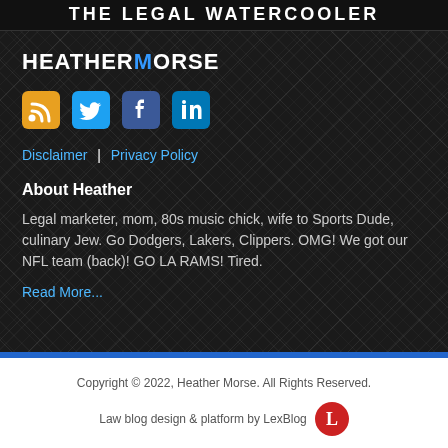THE LEGAL WATERCOOLER
HEATHERMORSE
[Figure (infographic): Four social media icons: RSS (orange), Twitter (blue), Facebook (dark blue), LinkedIn (dark blue)]
Disclaimer | Privacy Policy
About Heather
Legal marketer, mom, 80s music chick, wife to Sports Dude, culinary Jew. Go Dodgers, Lakers, Clippers. OMG! We got our NFL team (back)! GO LA RAMS! Tired.
Read More...
Copyright © 2022, Heather Morse. All Rights Reserved.
Law blog design & platform by LexBlog